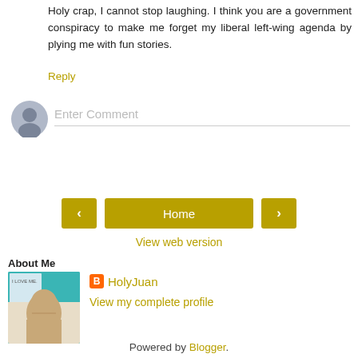Holy crap, I cannot stop laughing. I think you are a government conspiracy to make me forget my liberal left-wing agenda by plying me with fun stories.
Reply
[Figure (other): User avatar circle icon for comment input]
Enter Comment
< Home >
View web version
About Me
[Figure (photo): Profile photo of HolyJuan - book cover 'I Love Me' with a face]
HolyJuan
View my complete profile
Powered by Blogger.